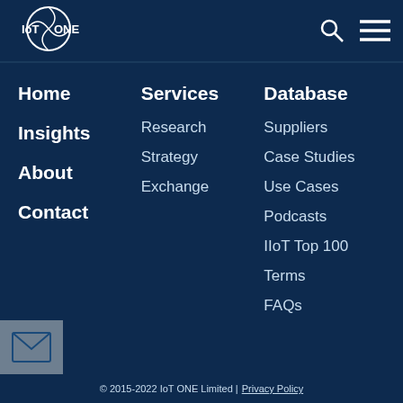[Figure (logo): IoT ONE logo — globe with basketball-style lines and 'IoT ONE' text]
Home
Insights
About
Contact
Services
Research
Strategy
Exchange
Database
Suppliers
Case Studies
Use Cases
Podcasts
IIoT Top 100
Terms
FAQs
[Figure (illustration): Email/envelope icon in a grey square button]
© 2015-2022 IoT ONE Limited | Privacy Policy